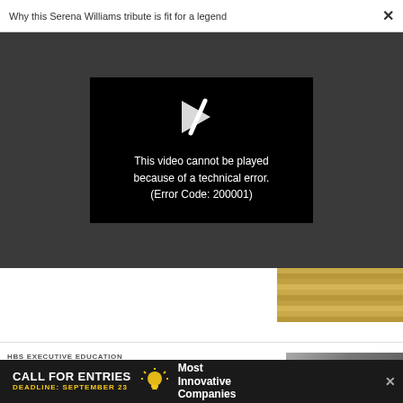Why this Serena Williams tribute is fit for a legend ×
[Figure (screenshot): Video player showing error message on dark grey background. Black error box with broken play icon and text: 'This video cannot be played because of a technical error. (Error Code: 200001)']
[Figure (photo): Partial photo of stacked money/banknotes on white background area]
HBS EXECUTIVE EDUCATION
Learn from world-renowned
[Figure (photo): Partial photo of people, appears to be two individuals in a professional setting]
[Figure (infographic): Advertisement banner: CALL FOR ENTRIES DEADLINE: SEPTEMBER 23 with lightbulb icon and text 'Most Innovative Companies' with close X button]